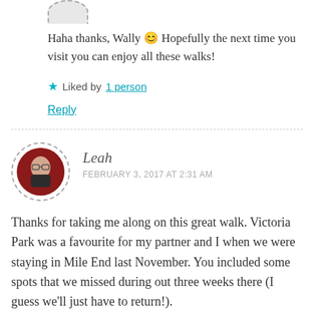[Figure (photo): Partial circular avatar at top, dashed border, partially cropped]
Haha thanks, Wally 😊 Hopefully the next time you visit you can enjoy all these walks!
★ Liked by 1 person
Reply
[Figure (photo): Circular avatar with dashed border showing a person with glasses in front of a red background, for commenter Leah]
Leah
FEBRUARY 3, 2017 AT 2:31 AM
Thanks for taking me along on this great walk. Victoria Park was a favourite for my partner and I when we were staying in Mile End last November. You included some spots that we missed during out three weeks there (I guess we'll just have to return!).